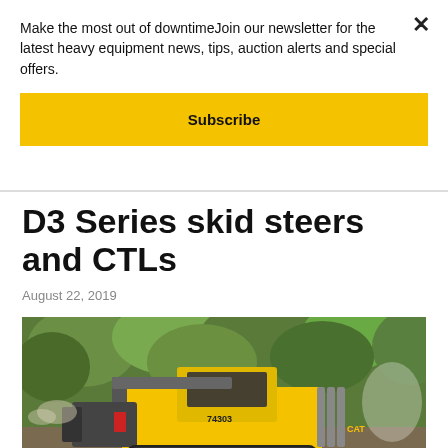Make the most out of downtimeJoin our newsletter for the latest heavy equipment news, tips, auction alerts and special offers.
Subscribe
D3 Series skid steers and CTLs
August 22, 2019
[Figure (photo): Yellow CAT D3 Series compact track loader (model 74303) operating in a forested area with green trees in background, using a forestry mulching attachment that is kicking up debris]